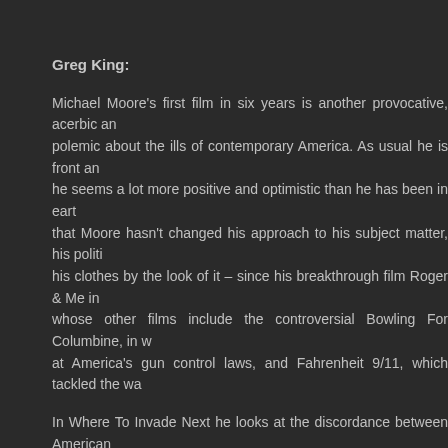Greg King:
Michael Moore's first film in six years is another provocative, acerbic and polemic about the ills of contemporary America. As usual he is front and he seems a lot more positive and optimistic than he has been in earlier films. Not that Moore hasn't changed his approach to his subject matter, his politics or even his clothes by the look of it – since his breakthrough film Roger & Me in 1989, and whose other films include the controversial Bowling For Columbine, in which he aimed at America's gun control laws, and Fahrenheit 9/11, which tackled the wa...
In Where To Invade Next he looks at the discordance between American ideals and he looks at social policies concerning education, health, justice from country to points the finger at the failings in these key social policies in the world's richest country. Armed with an American flag and a sense of self righteousness, Moore and crew visit a number of countries which have social policies that instil a sense of and fairness into their society. His aim is to bring some of these "radical ideas" back which is floundering under a wealth of social problems that no army can fix, and bring these great social policies back home to America and fix the obvious ills. As he points out, it seems that the American Dream is alive and well in other co...
Thus he explores a utopian Europe. He visits places like Italy, where...